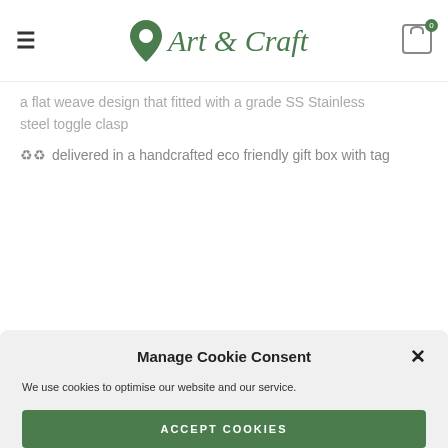Art & Craft
a flat weave design that fitted with a grade SS Stainless steel toggle clasp
♻♻ delivered in a handcrafted eco friendly gift box with tag
Manage Cookie Consent
We use cookies to optimise our website and our service.
ACCEPT COOKIES
DENY
VIEW PREFERENCES